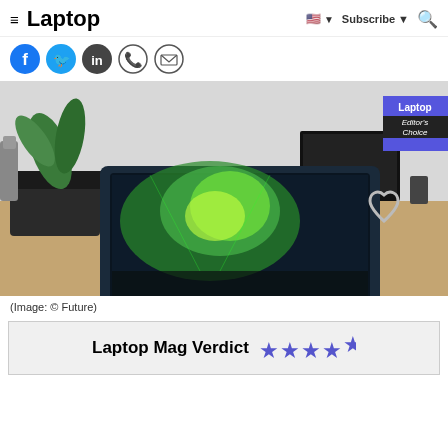≡ Laptop  🇺🇸 ▼  Subscribe ▼  🔍
[Figure (other): Social media share icons: Facebook, Twitter, LinkedIn, WhatsApp, Email]
[Figure (photo): A dark gaming laptop open on a wooden desk showing a colorful green-themed wallpaper, with a potted plant in background, a monitor, and a chrome heart trophy. Editor's Choice badge from Laptop magazine in top right corner.]
(Image: © Future)
Laptop Mag Verdict ★★★★½